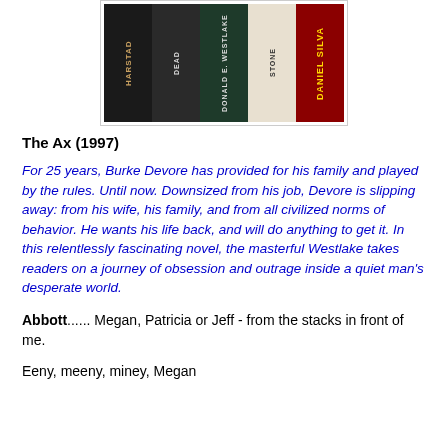[Figure (photo): Photo of book spines on a shelf, showing authors including HARSTAD, WESTLAKE, STONE, DANIEL SILVA]
The Ax (1997)
For 25 years, Burke Devore has provided for his family and played by the rules. Until now. Downsized from his job, Devore is slipping away: from his wife, his family, and from all civilized norms of behavior. He wants his life back, and will do anything to get it. In this relentlessly fascinating novel, the masterful Westlake takes readers on a journey of obsession and outrage inside a quiet man's desperate world.
Abbott...... Megan, Patricia or Jeff - from the stacks in front of me.
Eeny, meeny, miney, Megan